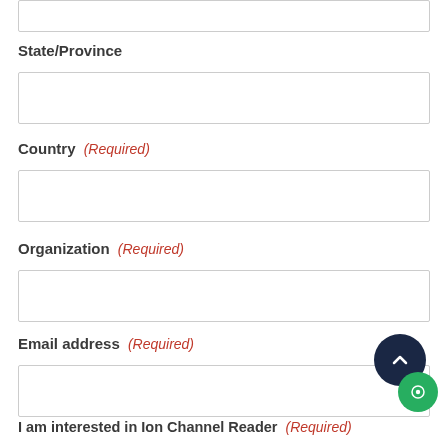[partial input field at top]
State/Province
[input field]
Country (Required)
[input field]
Organization (Required)
[input field]
Email address (Required)
[input field]
I am interested in Ion Channel Reader (Required)